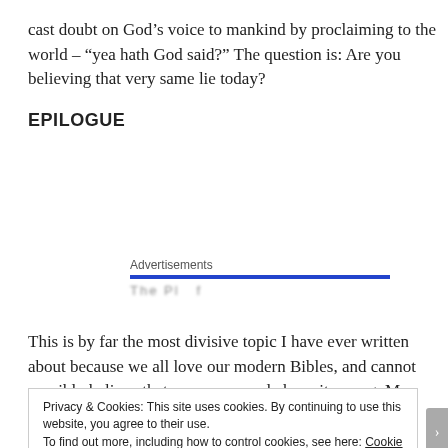cast doubt on God’s voice to mankind by proclaiming to the world – “yea hath God said?” The question is: Are you believing that very same lie today?
EPILOGUE
[Figure (other): Advertisements section with a blue horizontal bar and partially visible blurred text below it.]
This is by far the most divisive topic I have ever written about because we all love our modern Bibles, and cannot possibly believe that so many people have it wrong. My
Privacy & Cookies: This site uses cookies. By continuing to use this website, you agree to their use. To find out more, including how to control cookies, see here: Cookie Policy
Close and accept